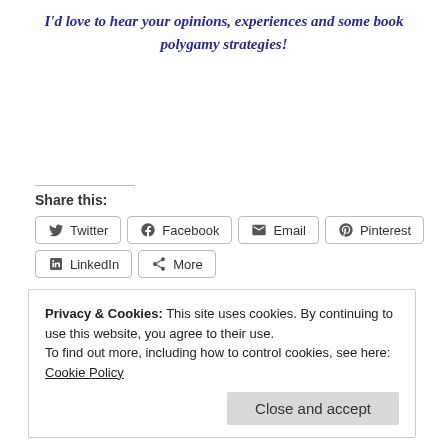I'd love to hear your opinions, experiences and some book polygamy strategies!
Share this:
Twitter  Facebook  Email  Pinterest  LinkedIn  More
Privacy & Cookies: This site uses cookies. By continuing to use this website, you agree to their use. To find out more, including how to control cookies, see here: Cookie Policy  Close and accept